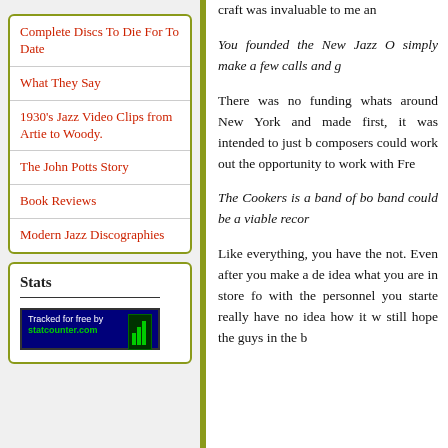Complete Discs To Die For To Date
What They Say
1930's Jazz Video Clips from Artie to Woody.
The John Potts Story
Book Reviews
Modern Jazz Discographies
Stats
[Figure (logo): StatCounter 'Tracked for free by statcounter.com' badge with green bar-chart icon on dark blue background]
craft was invaluable to me an
You founded the New Jazz O simply make a few calls and g
There was no funding whats around New York and made first, it was intended to just b composers could work out the opportunity to work with Fre
The Cookers is a band of bo band could be a viable recor
Like everything, you have the not. Even after you make a de idea what you are in store fo with the personnel you starte really have no idea how it w still hope the guys in the b